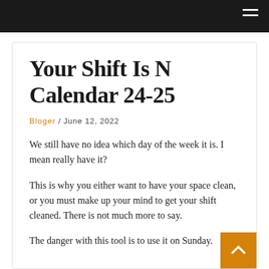Your Shift Is N Calendar 24-25
Bloger / June 12, 2022
We still have no idea which day of the week it is. I mean really have it?
This is why you either want to have your space clean, or you must make up your mind to get your shift cleaned. There is not much more to say.
The danger with this tool is to use it on Sunday.